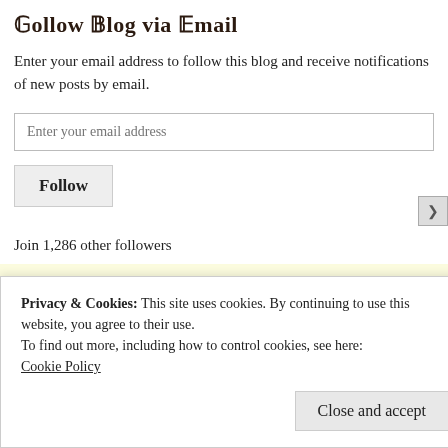Follow Blog via Email
Enter your email address to follow this blog and receive notifications of new posts by email.
Join 1,286 other followers
Top Posts
Privacy & Cookies: This site uses cookies. By continuing to use this website, you agree to their use.
To find out more, including how to control cookies, see here:
Cookie Policy
Close and accept